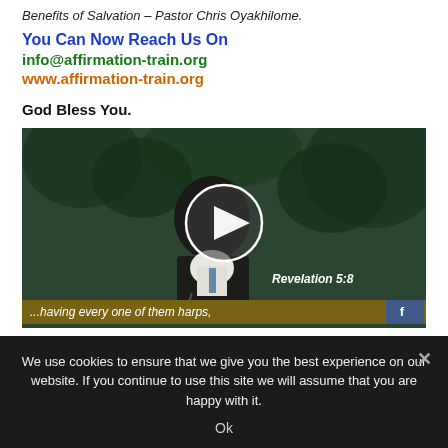Benefits of Salvation – Pastor Chris Oyakhilome.
You Can Now Reach Us On
info@affirmation-train.org
www.affirmation-train.org
God Bless You.
[Figure (screenshot): Video player screenshot showing a man speaking at a podium with a play button overlay. Bottom caption shows 'Revelation 5:8' and '...having every one of them harps,']
We use cookies to ensure that we give you the best experience on our website. If you continue to use this site we will assume that you are happy with it.
Ok